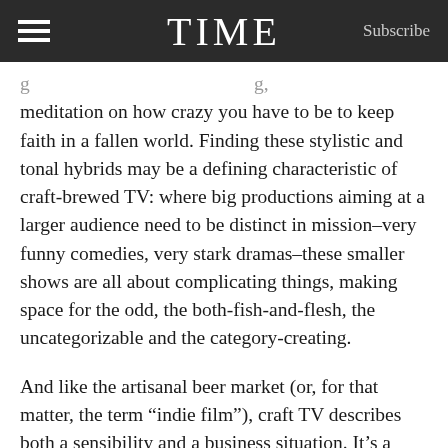TIME | Subscribe
meditation on how crazy you have to be to keep faith in a fallen world. Finding these stylistic and tonal hybrids may be a defining characteristic of craft-brewed TV: where big productions aiming at a larger audience need to be distinct in mission–very funny comedies, very stark dramas–these smaller shows are all about complicating things, making space for the odd, the both-fish-and-flesh, the uncategorizable and the category-creating.
And like the artisanal beer market (or, for that matter, the term “Indie film”), craft TV describes both a sensibility and a business situation. It’s a phenomenon that’s possible not just because of the artists working in it but because of the growth of outlets–cable, satellite, streaming–for them to work in. It’s a byproduct of a market with expanding shelf space that allows–no, demands–unusual, niche products combining odd ingredients. Crack a few open. Eventually you’ll find your favorite.